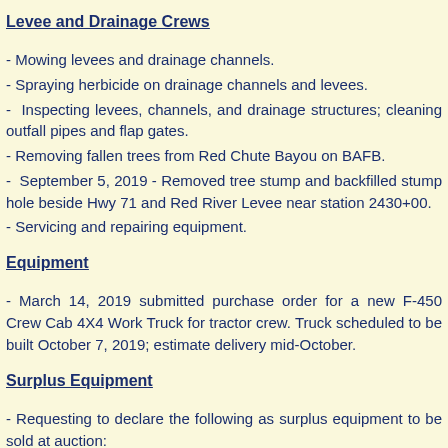Levee and Drainage Crews
- Mowing levees and drainage channels.
- Spraying herbicide on drainage channels and levees.
- Inspecting levees, channels, and drainage structures; cleaning outfall pipes and flap gates.
- Removing fallen trees from Red Chute Bayou on BAFB.
- September 5, 2019 - Removed tree stump and backfilled stump hole beside Hwy 71 and Red River Levee near station 2430+00.
- Servicing and repairing equipment.
Equipment
- March 14, 2019 submitted purchase order for a new F-450 Crew Cab 4X4 Work Truck for tractor crew. Truck scheduled to be built October 7, 2019; estimate delivery mid-October.
Surplus Equipment
- Requesting to declare the following as surplus equipment to be sold at auction: